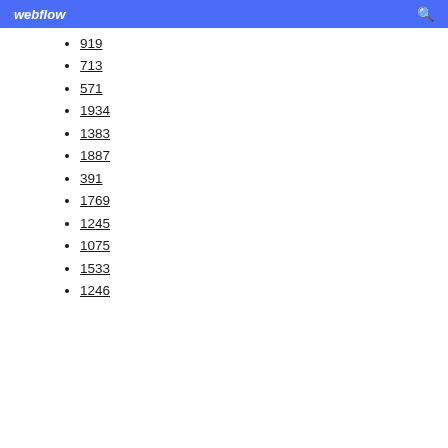webflow
919
713
571
1934
1383
1887
391
1769
1245
1075
1533
1246